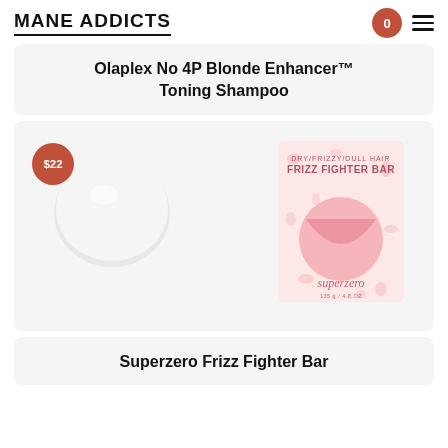MANE ADDICTS
Olaplex No 4P Blonde Enhancer™ Toning Shampoo
[Figure (photo): Product photo showing a white round shampoo bar next to a pink Superzero Frizz Fighter Bar box, with a $22 price badge in the top left corner]
Superzero Frizz Fighter Bar